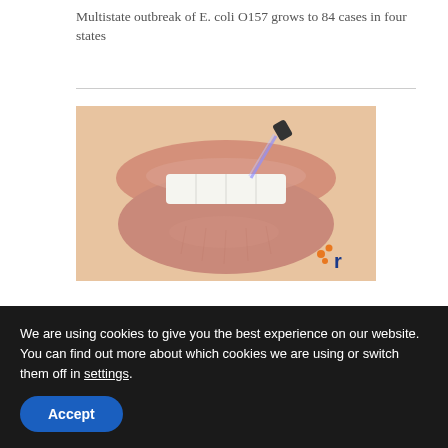Multistate outbreak of E. coli O157 grows to 84 cases in four states
[Figure (photo): Close-up photo of a person's lips and teeth with a light beam or laser touching the corner of the mouth, with a watermark logo in the bottom right corner.]
[Figure (photo): Advertisement banner for Microbiome Plus+ product, showing logo and partial image of a person.]
We are using cookies to give you the best experience on our website. You can find out more about which cookies we are using or switch them off in settings.